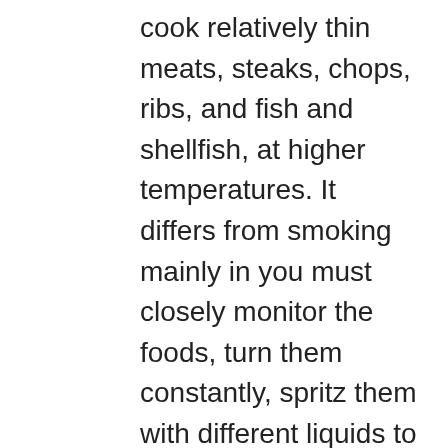cook relatively thin meats, steaks, chops, ribs, and fish and shellfish, at higher temperatures. It differs from smoking mainly in you must closely monitor the foods, turn them constantly, spritz them with different liquids to prevent burning, and must keep the fats from igniting and burning the foods. Barbecuing (grilling) is done with open flame and having the food suspended above the flame but really close to the flame and when the fats render, they are highly flammable. Keep a spray bottle at hand and NEVER, EVER walk away and leave the grill unattended, that is flirting with disaster. Some of...